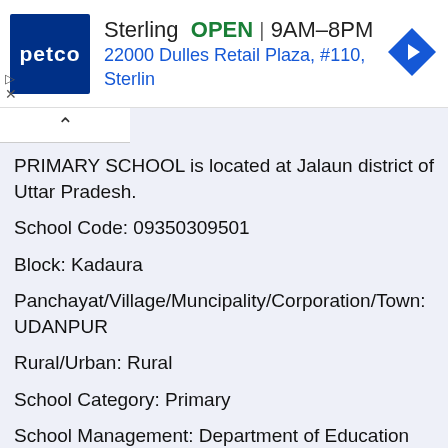[Figure (screenshot): Petco advertisement banner: Sterling OPEN 9AM–8PM, 22000 Dulles Retail Plaza, #110, Sterlin, with Petco logo and navigation arrow icon]
PRIMARY SCHOOL is located at Jalaun district of Uttar Pradesh.
School Code: 09350309501
Block: Kadaura
Panchayat/Village/Muncipality/Corporation/Town: UDANPUR
Rural/Urban: Rural
School Category: Primary
School Management: Department of Education
KANYA PRIMARY SCHOOL
KANYA PRIMARY SCHOOL is located at Jalaun district of